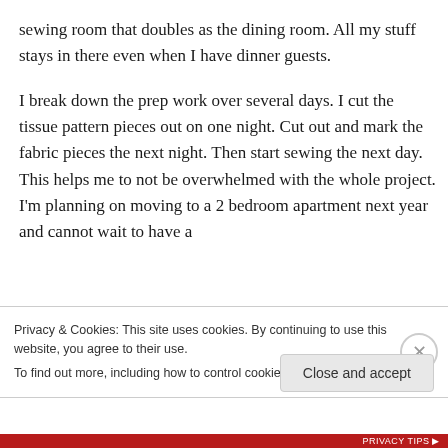sewing room that doubles as the dining room. All my stuff stays in there even when I have dinner guests.
I break down the prep work over several days. I cut the tissue pattern pieces out on one night. Cut out and mark the fabric pieces the next night. Then start sewing the next day. This helps me to not be overwhelmed with the whole project. I'm planning on moving to a 2 bedroom apartment next year and cannot wait to have a
Privacy & Cookies: This site uses cookies. By continuing to use this website, you agree to their use.
To find out more, including how to control cookies, see here: Cookie Policy